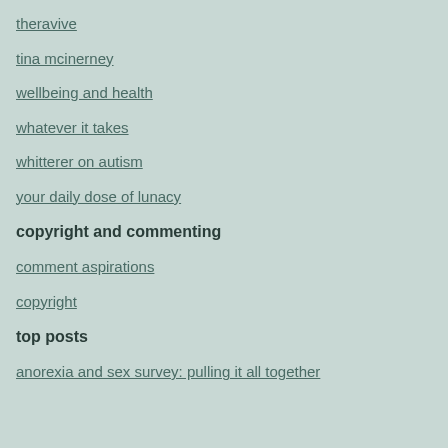theravive
tina mcinerney
wellbeing and health
whatever it takes
whitterer on autism
your daily dose of lunacy
copyright and commenting
comment aspirations
copyright
top posts
anorexia and sex survey: pulling it all together